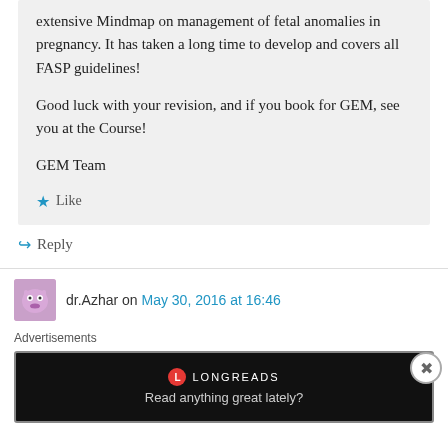extensive Mindmap on management of fetal anomalies in pregnancy. It has taken a long time to develop and covers all FASP guidelines!

Good luck with your revision, and if you book for GEM, see you at the Course!

GEM Team
Like
Reply
dr.Azhar on May 30, 2016 at 16:46
Advertisements
[Figure (screenshot): Longreads advertisement banner: dark/black background with Longreads logo and text 'Read anything great lately?']